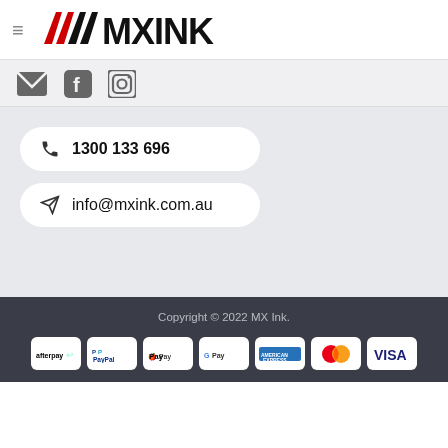≡ MX INK logo
[Figure (logo): MX Ink brand logo with red and black stylized lettering]
[Figure (infographic): Social media icons: email (envelope), Facebook, Instagram]
📞 1300 133 696
✉ info@mxink.com.au
Copyright © 2022 MX Ink.
[Figure (infographic): Payment method logos: afterpay, PayPal, Apple Pay, Google Pay, American Express, Mastercard, Visa]